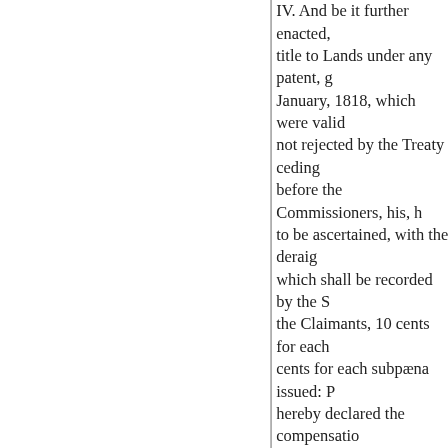IV. And be it further enacted, title to Lands under any patent, g January, 1818, which were valid not rejected by the Treaty ceding before the Commissioners, his, h to be ascertained, with the deraig which shall be recorded by the S the Claimants, 10 cents for each cents for each subpæna issued: P hereby declared the compensatio be subject to their disposition, an validity of said patents, grants, c heretofore existing of the Govern Claims, to the conditions and sti Washington, between His Cathol Claim not filed previous to the 3 effect. Provided never theless, A Commissioners, where the same British and Spanish Government cases, with an abstract of the evi V. And be it further enacted, th validity of the Claims filed with compel the attendance of Witnes testimony as may be wanted: th